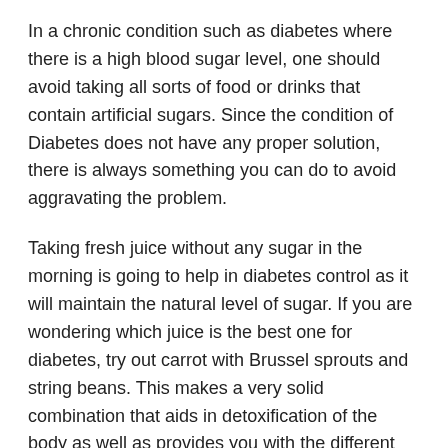In a chronic condition such as diabetes where there is a high blood sugar level, one should avoid taking all sorts of food or drinks that contain artificial sugars. Since the condition of Diabetes does not have any proper solution, there is always something you can do to avoid aggravating the problem.
Taking fresh juice without any sugar in the morning is going to help in diabetes control as it will maintain the natural level of sugar. If you are wondering which juice is the best one for diabetes, try out carrot with Brussel sprouts and string beans. This makes a very solid combination that aids in detoxification of the body as well as provides you with the different types of essential multivitamins fulfilling the fiber requirements of your body as well.